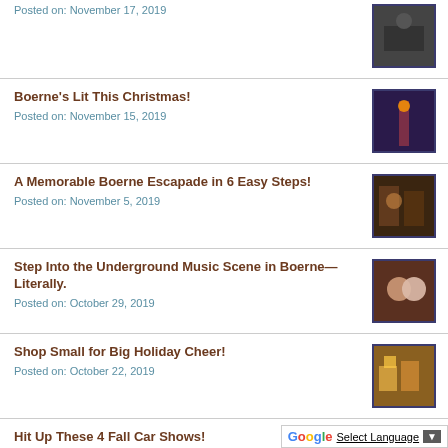Posted on: November 17, 2019
Boerne's Lit This Christmas!
Posted on: November 15, 2019
A Memorable Boerne Escapade in 6 Easy Steps!
Posted on: November 5, 2019
Step Into the Underground Music Scene in Boerne—Literally.
Posted on: October 29, 2019
Shop Small for Big Holiday Cheer!
Posted on: October 22, 2019
Hit Up These 4 Fall Car Shows!
Posted on: October 1, 2019